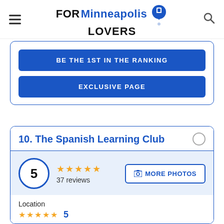FOR Minneapolis LOVERS
BE THE 1ST IN THE RANKING
EXCLUSIVE PAGE
10. The Spanish Learning Club
5 — 37 reviews
MORE PHOTOS
Location — 5 stars — 5
Prices — 5 stars — 5